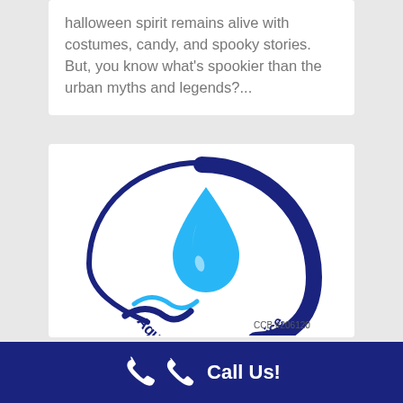halloween spirit remains alive with costumes, candy, and spooky stories. But, you know what's spookier than the urban myths and legends?...
[Figure (logo): Aqua Pro Pump Service logo featuring a blue water droplet inside a dark blue circular swoosh, with curved text reading 'Aqua Pro Pump Service' and 'CCB #206120']
Call Us!